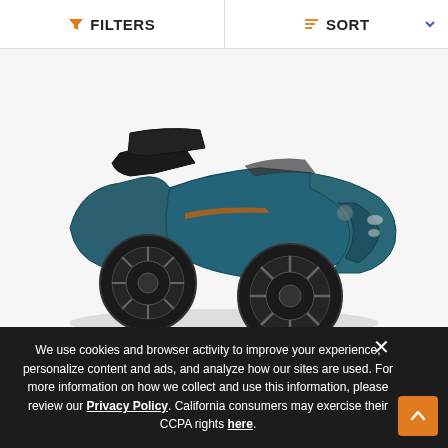FILTERS  SORT
[Figure (photo): A teal/blue 2022 Can-Am Spyder RT three-wheeled motorcycle shown from a front-right angle on a white background.]
New 2022 Can-Am Spyder RT
$27,499
Color   BLU
We use cookies and browser activity to improve your experience, personalize content and ads, and analyze how our sites are used. For more information on how we collect and use this information, please review our Privacy Policy. California consumers may exercise their CCPA rights here.